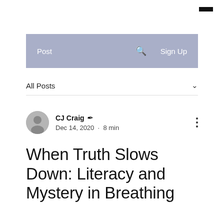☰ (hamburger menu icon)
Post   🔍   Sign Up
All Posts ∨
CJ Craig ✒ Dec 14, 2020 · 8 min
When Truth Slows Down: Literacy and Mystery in Breathing